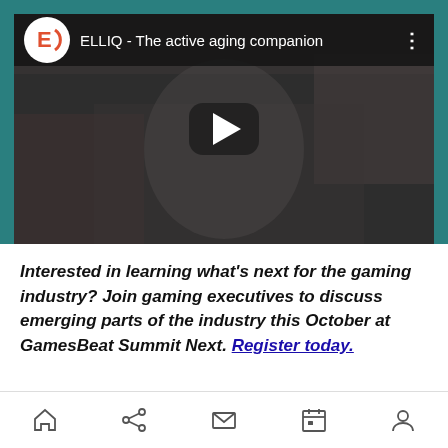[Figure (screenshot): YouTube-style video thumbnail showing ELLIQ - The active aging companion. An elderly woman in a white sweater is visible in the video frame with a play button overlay. The video has the ElliQ logo (orange E on white circle) and the title in the top bar.]
Interested in learning what's next for the gaming industry? Join gaming executives to discuss emerging parts of the industry this October at GamesBeat Summit Next. Register today.
Home | Share | Mail | Calendar | Account